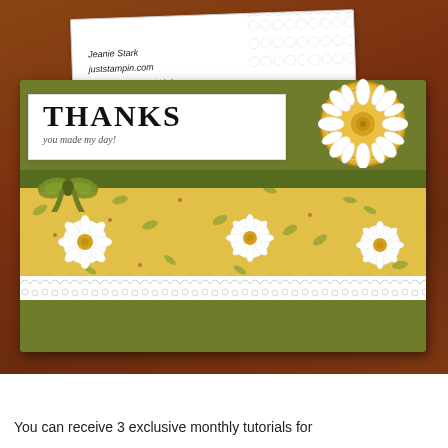[Figure (photo): A handmade greeting card featuring a green base card with a THANKS sentiment, yellow daisy floral patterned band, white lace border, green ribbon bow, and a white daisy flower medallion. An envelope with the text 'Jeanie Stark juststampin.com Images Stampin' Up!' is visible behind the card. The scene is set on a wood background.]
You can receive 3 exclusive monthly tutorials for